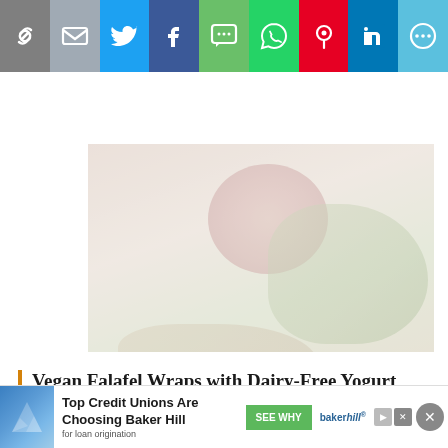[Figure (other): Social media share bar with icons: link, email, Twitter, Facebook, SMS, WhatsApp, Pinterest, LinkedIn, More]
[Figure (photo): Top portion of a falafel wrap food photo with colorful vegetables, blurred/faded style]
Vegan Falafel Wraps with Dairy-Free Yogurt Sauce and Gluten-Free Option
[Figure (photo): Bowl of dairy-free yogurt sauce with a spoon, light cream colored, partially visible]
[Figure (other): Advertisement banner: Top Credit Unions Are Choosing Baker Hill — SEE WHY — bakerhill logo, for loan origination]